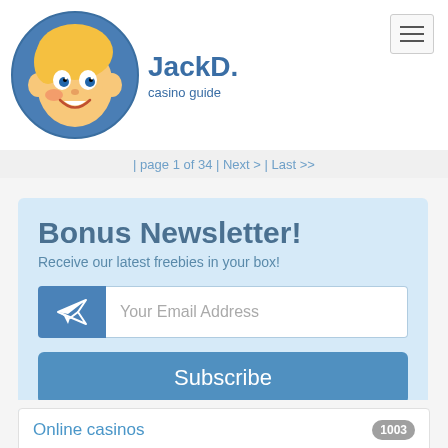[Figure (logo): JackD. casino guide logo with cartoon character in a blue circle]
| page 1 of 34 | Next > | Last >>
Bonus Newsletter!
Receive our latest freebies in your box!
Your Email Address
Subscribe
Online casinos 1003
No download casinos 897